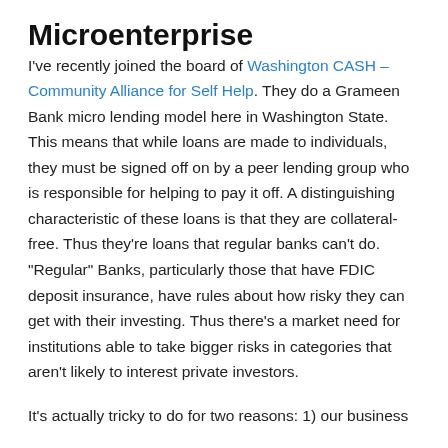Microenterprise
I've recently joined the board of Washington CASH – Community Alliance for Self Help. They do a Grameen Bank micro lending model here in Washington State. This means that while loans are made to individuals, they must be signed off on by a peer lending group who is responsible for helping to pay it off. A distinguishing characteristic of these loans is that they are collateral-free. Thus they're loans that regular banks can't do. “Regular” Banks, particularly those that have FDIC deposit insurance, have rules about how risky they can get with their investing. Thus there’s a market need for institutions able to take bigger risks in categories that aren’t likely to interest private investors.
It’s actually tricky to do for two reasons: 1) our business